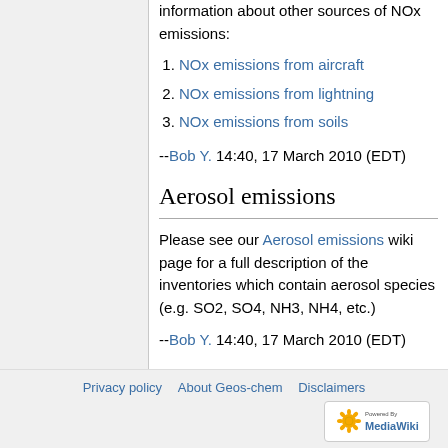information about other sources of NOx emissions:
1. NOx emissions from aircraft
2. NOx emissions from lightning
3. NOx emissions from soils
--Bob Y. 14:40, 17 March 2010 (EDT)
Aerosol emissions
Please see our Aerosol emissions wiki page for a full description of the inventories which contain aerosol species (e.g. SO2, SO4, NH3, NH4, etc.)
--Bob Y. 14:40, 17 March 2010 (EDT)
Privacy policy   About Geos-chem   Disclaimers